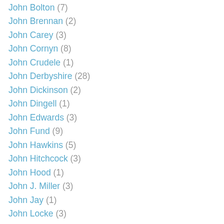John Bolton (7)
John Brennan (2)
John Carey (3)
John Cornyn (8)
John Crudele (1)
John Derbyshire (28)
John Dickinson (2)
John Dingell (1)
John Edwards (3)
John Fund (9)
John Hawkins (5)
John Hitchcock (3)
John Hood (1)
John J. Miller (3)
John Jay (1)
John Locke (3)
John Lott (1)
John McCormack (3)
John Milius (1)
John Murtha (5)